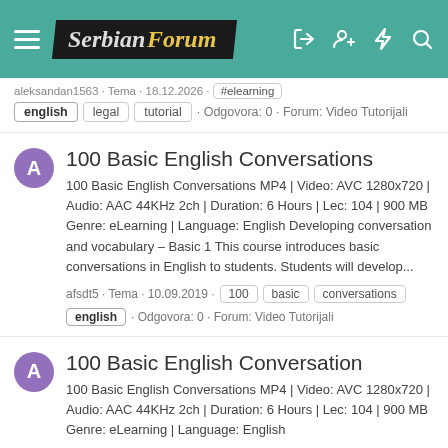Serbian Forum
aleksandan1563 · Tema · 18.12.2020 · #elearning english legal tutorial · Odgovora: 0 · Forum: Video Tutorijali
100 Basic English Conversations
100 Basic English Conversations MP4 | Video: AVC 1280x720 | Audio: AAC 44KHz 2ch | Duration: 6 Hours | Lec: 104 | 900 MB Genre: eLearning | Language: English Developing conversation and vocabulary – Basic 1 This course introduces basic conversations in English to students. Students will develop...
afsdt5 · Tema · 10.09.2019 · 100 basic conversations english · Odgovora: 0 · Forum: Video Tutorijali
100 Basic English Conversation
100 Basic English Conversations MP4 | Video: AVC 1280x720 | Audio: AAC 44KHz 2ch | Duration: 6 Hours | Lec: 104 | 900 MB Genre: eLearning | Language: English